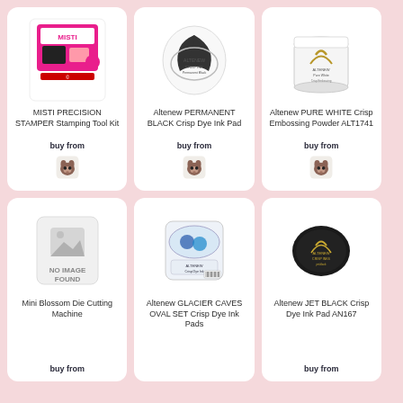[Figure (photo): MISTI Precision Stamper Stamping Tool Kit product photo]
MISTI PRECISION STAMPER Stamping Tool Kit
buy from
[Figure (logo): French bulldog shop logo icon]
[Figure (photo): Altenew Permanent Black Crisp Dye Ink Pad product photo]
Altenew PERMANENT BLACK Crisp Dye Ink Pad
buy from
[Figure (logo): French bulldog shop logo icon]
[Figure (photo): Altenew Pure White Crisp Embossing Powder ALT1741 product photo]
Altenew PURE WHITE Crisp Embossing Powder ALT1741
buy from
[Figure (logo): French bulldog shop logo icon]
[Figure (photo): No image found placeholder for Mini Blossom Die Cutting Machine]
Mini Blossom Die Cutting Machine
buy from
[Figure (photo): Altenew Glacier Caves Oval Set Crisp Dye Ink Pads product photo]
Altenew GLACIER CAVES OVAL SET Crisp Dye Ink Pads
[Figure (photo): Altenew Jet Black Crisp Dye Ink Pad AN167 product photo]
Altenew JET BLACK Crisp Dye Ink Pad AN167
buy from